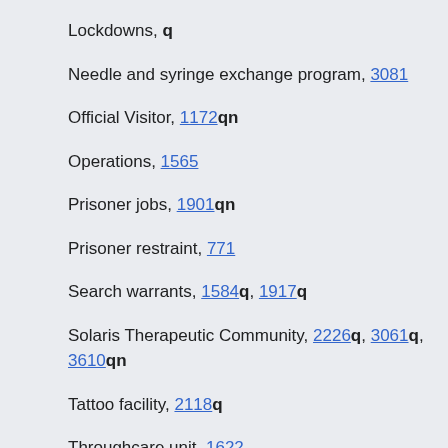Lockdowns, q
Needle and syringe exchange program, 3081
Official Visitor, 1172qn
Operations, 1565
Prisoner jobs, 1901qn
Prisoner restraint, 771
Search warrants, 1584q, 1917q
Solaris Therapeutic Community, 2226q, 3061q, 3610qn
Tattoo facility, 2118q
Throughcare unit, 1622